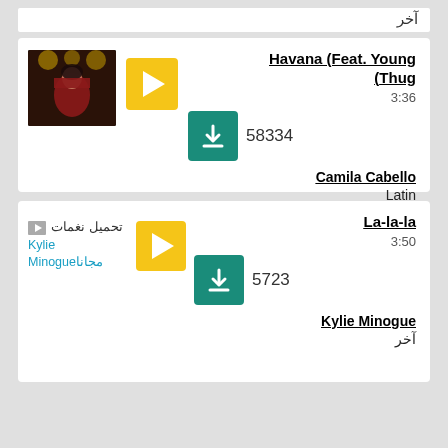آخر
[Figure (screenshot): Music listing card: Havana (Feat. Young Thug) by Camila Cabello, duration 3:36, 58334 downloads, genre Latin, with artist photo thumbnail and yellow play button]
[Figure (screenshot): Music listing card: La-la-la by Kylie Minogue, duration 3:50, 5723 downloads, with Arabic text image link and yellow play button, showing آخر at bottom right]